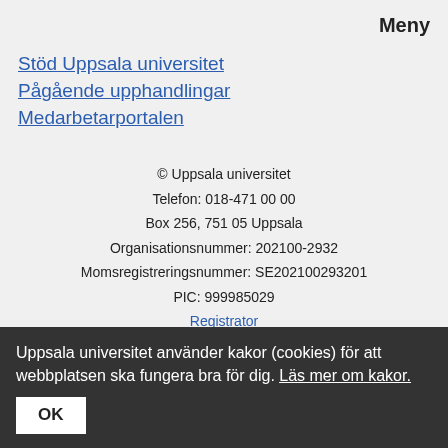Meny
Stöd Uppsala universitet
Pågående upphandlingar
Medarbetarportalen
© Uppsala universitet
Telefon: 018-471 00 00
Box 256, 751 05 Uppsala
Organisationsnummer: 202100-2932
Momsregistreringsnummer: SE202100293201
PIC: 999985029
Registrator
Om webbplatsen
Uppsala universitet använder kakor (cookies) för att webbplatsen ska fungera bra för dig. Läs mer om kakor.
OK